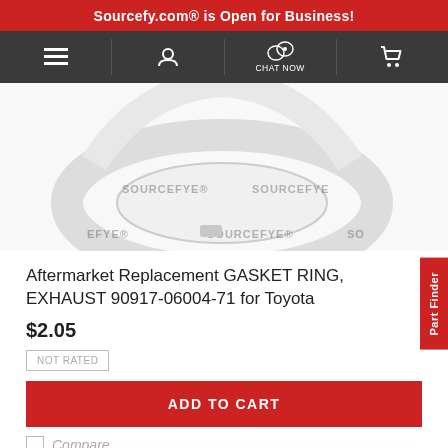Sourcefy.com® is Open for Business!
[Figure (screenshot): Navigation bar with menu, account, chat now, and cart icons on dark background]
[Figure (photo): Aftermarket exhaust gasket ring product photo with SOURCEFYE watermarks]
Aftermarket Replacement GASKET RING, EXHAUST 90917-06004-71 for Toyota
$2.05
NOT RATED
ADD TO CART
Compare